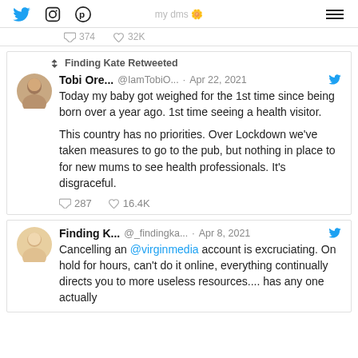my dms 🌼 [Twitter, Instagram, Pinterest icons] [hamburger menu]
374 comments  32K likes
Finding Kate Retweeted
Tobi Ore... @IamTobiO... · Apr 22, 2021
Today my baby got weighed for the 1st time since being born over a year ago. 1st time seeing a health visitor.

This country has no priorities. Over Lockdown we've taken measures to go to the pub, but nothing in place to for new mums to see health professionals. It's disgraceful.
287 comments  16.4K likes
Finding K... @_findingka... · Apr 8, 2021
Cancelling an @virginmedia account is excruciating. On hold for hours, can't do it online, everything continually directs you to more useless resources.... has any one actually